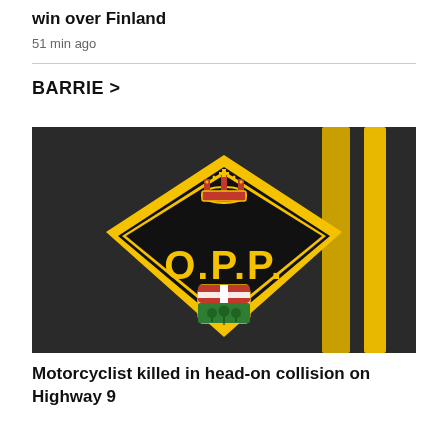win over Finland
51 min ago
BARRIE >
[Figure (photo): OPP (Ontario Provincial Police) badge/logo on asphalt road surface with yellow road markings visible in background]
Motorcyclist killed in head-on collision on Highway 9